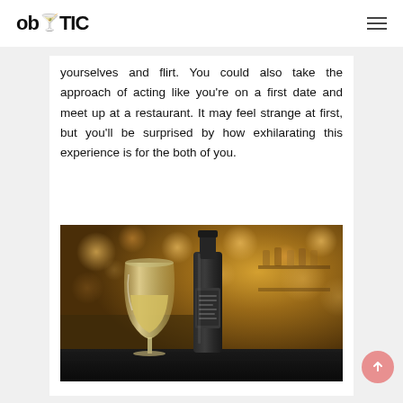obYTIC
yourselves and flirt. You could also take the approach of acting like you're on a first date and meet up at a restaurant. It may feel strange at first, but you'll be surprised by how exhilarating this experience is for the both of you.
[Figure (photo): A wine glass filled with white wine next to a dark beer bottle on a bar counter, with blurred warm bokeh bar background.]